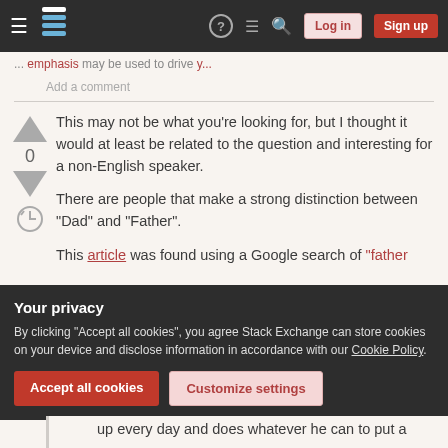Stack Exchange navigation bar with Log in and Sign up buttons
... emphasis may be used to drive y...
Add a comment
This may not be what you're looking for, but I thought it would at least be related to the question and interesting for a non-English speaker.
There are people that make a strong distinction between "Dad" and "Father".
This article was found using a Google search of "father
Your privacy
By clicking "Accept all cookies", you agree Stack Exchange can store cookies on your device and disclose information in accordance with our Cookie Policy.
Accept all cookies  Customize settings
up every day and does whatever he can to put a